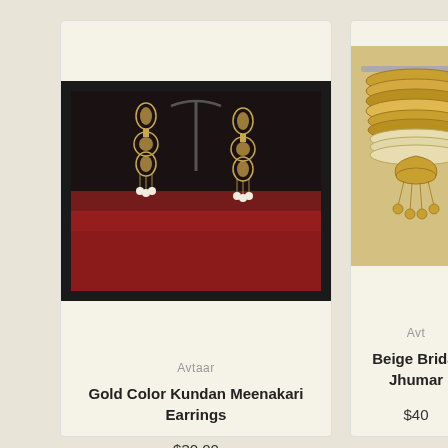[Figure (photo): Photo of gold color kundan meenakari earrings on a dark background with red fabric]
Avtaar
Gold Color Kundan Meenakari Earrings
$30.00
[Figure (photo): Photo of beige bridal jhumar bangles stacked on a metal rod]
Avt...
Beige Bridal Jhumar
$40...